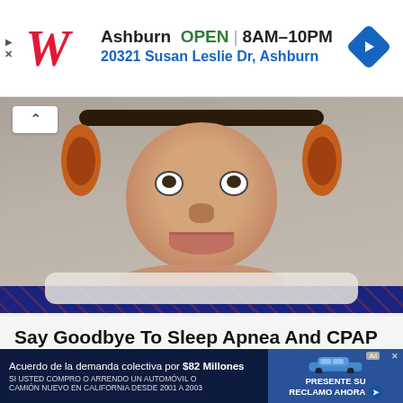[Figure (screenshot): Walgreens advertisement banner showing Walgreens 'W' logo in red italic, text 'Ashburn OPEN | 8AM-10PM' and address '20321 Susan Leslie Dr, Ashburn' in blue, with navigation diamond icon on right. Play/close icons on far left.]
[Figure (photo): Photo of a man lying in bed wearing orange over-ear headphones and a navy patterned shirt, making a surprised/scared facial expression with wide eyes and pursed mouth. A white pillow is visible behind his head. There is a white collapse/chevron button at the top left of the image.]
Say Goodbye To Sleep Apnea And CPAP
American Sleep Dentistry | Sponsored
[Figure (photo): Partial image of stacks of US dollar bills, with a white expand/chevron-down button in the middle of the image.]
[Figure (screenshot): Bottom advertisement banner with dark navy background. Text reads 'Acuerdo de la demanda colectiva por $82 Millones' followed by 'SI USTED COMPRO O ARRENDO UN AUTOMOVIL O CAMION NUEVO EN CALIFORNIA DESDE 2001 A 2003'. Right side shows blue panel with car image and CTA button 'PRESENTE SU RECLAMO AHORA' with forward arrow.]